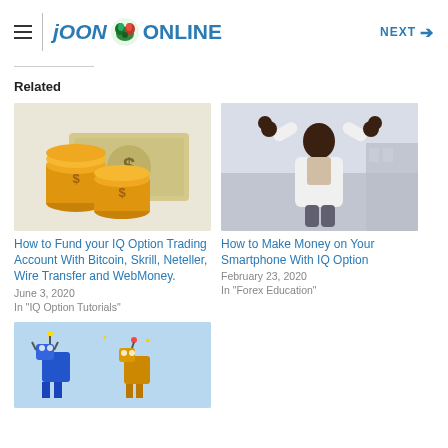≡ | JOONLINE  NEXT →
Related
[Figure (illustration): Illustration of gold coins and a dollar bill]
How to Fund your IQ Option Trading Account With Bitcoin, Skrill, Neteller, Wire Transfer and WebMoney.
June 3, 2020
In "IQ Option Tutorials"
[Figure (photo): Photo of a man in white shirt celebrating with raised fists]
How to Make Money on Your Smartphone With IQ Option
February 23, 2020
In "Forex Education"
[Figure (illustration): Colorful cartoon robot illustrations]